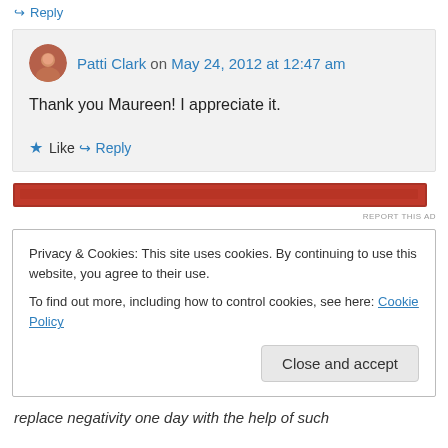↳ Reply
Patti Clark on May 24, 2012 at 12:47 am
Thank you Maureen! I appreciate it.
★ Like
↳ Reply
[Figure (other): Red advertisement banner with REPORT THIS AD label]
Privacy & Cookies: This site uses cookies. By continuing to use this website, you agree to their use.
To find out more, including how to control cookies, see here: Cookie Policy
Close and accept
replace negativity one day with the help of such